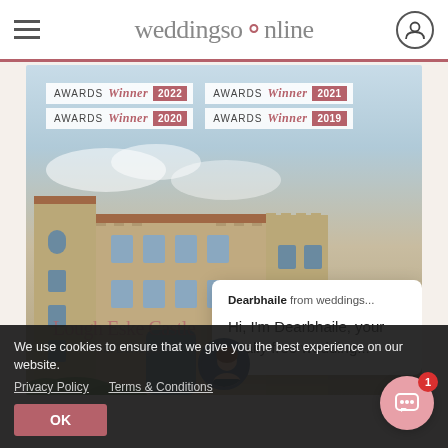weddingsonline
[Figure (photo): Photo of a stone castle/manor house with award winner badges overlaid: Awards Winner 2022, Awards Winner 2021, Awards Winner 2020, Awards Winner 2019. A chat popup shows 'Dearbhaile from weddings...' and 'Hi, I'm Dearbhaile, your totally free wedding...']
Dearbhaile from weddings...
Hi, I'm Dearbhaile, your totally free wedding...
We use cookies to ensure that we give you the best experience on our website.
Privacy Policy   Terms & Conditions
OK